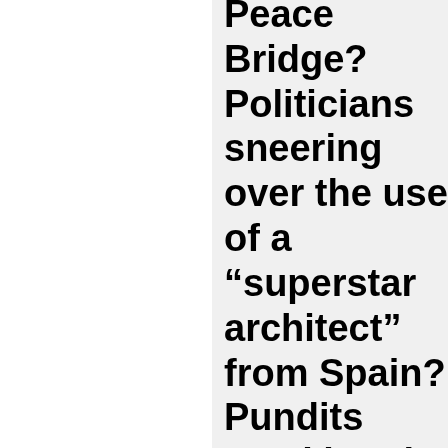Peace Bridge? Politicians sneering over the use of a “superstar architect” from Spain? Pundits mocking the idea that such a bridge would ever be a tourist